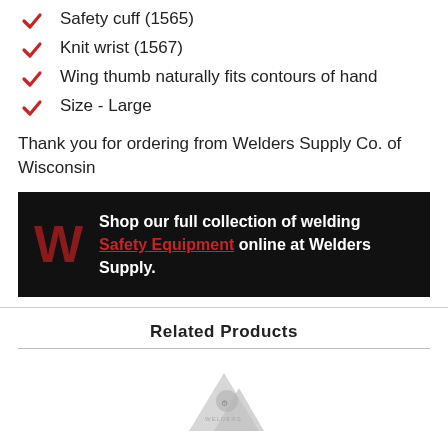Safety cuff (1565)
Knit wrist (1567)
Wing thumb naturally fits contours of hand
Size - Large
Thank you for ordering from Welders Supply Co. of Wisconsin
[Figure (infographic): Black banner with a dark red W logo on the left and white bold text reading: Shop our full collection of welding Safety Equipment (red underlined link) online at Welders Supply.]
Related Products
[Figure (photo): Partial image of a welding glove or safety product, light grey color, with a logo, shown at bottom of page.]